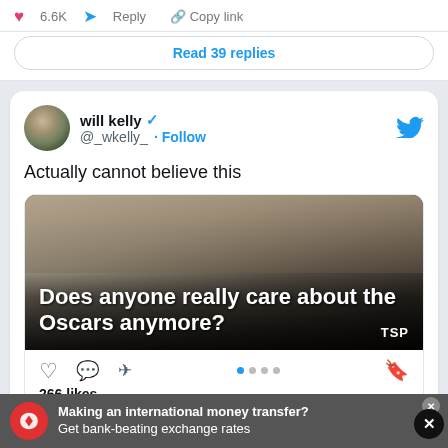6.6K  Reply  Copy link
Read 39 replies
will kelly @_wkelly_ · Follow
Actually cannot believe this
[Figure (screenshot): Embedded image card showing hands holding Oscars statuettes with text overlay: 'Does anyone really care about the Oscars anymore?' with TSP watermark. Has like, comment, share icons and shows 266 likes.]
266 likes
Making an international money transfer? Get bank-beating exchange rates